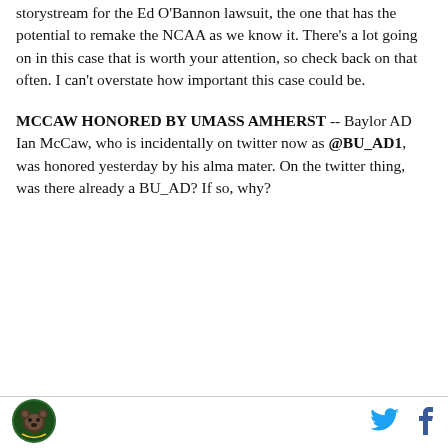storystream for the Ed O'Bannon lawsuit, the one that has the potential to remake the NCAA as we know it. There's a lot going on in this case that is worth your attention, so check back on that often. I can't overstate how important this case could be.
MCCAW HONORED BY UMASS AMHERST -- Baylor AD Ian McCaw, who is incidentally on twitter now as @BU_AD1, was honored yesterday by his alma mater. On the twitter thing, was there already a BU_AD? If so, why?
[Figure (logo): Circular logo with green and yellow bear mascot]
[Figure (illustration): Twitter bird icon in cyan]
[Figure (illustration): Facebook 'f' icon in dark blue]